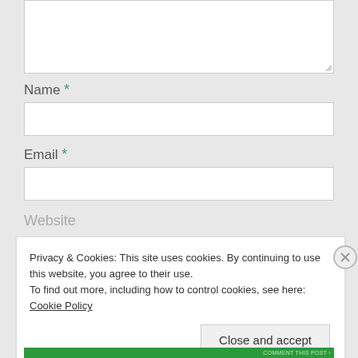[Figure (screenshot): Textarea input box (partially visible at top of page), empty white text area with resize handle]
Name *
[Figure (screenshot): Name text input field, empty white rectangle]
Email *
[Figure (screenshot): Email text input field, empty white rectangle]
Website
Privacy & Cookies: This site uses cookies. By continuing to use this website, you agree to their use.
To find out more, including how to control cookies, see here: Cookie Policy
Close and accept